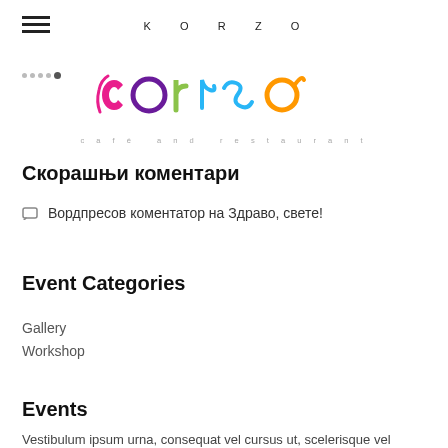[Figure (logo): Korzo Corso cafe and restaurant logo with colorful stylized text]
Скорашњи коментари
□  Вордпресов коментатор на Здраво, свете!
Event Categories
Gallery
Workshop
Events
Vestibulum ipsum urna, consequat vel cursus ut, scelerisque vel